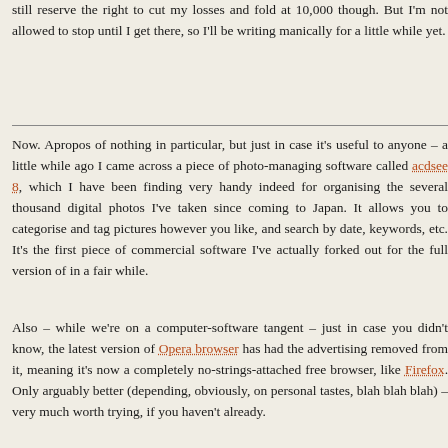still reserve the right to cut my losses and fold at 10,000 though. But I'm not allowed to stop until I get there, so I'll be writing manically for a little while yet.
Now. Apropos of nothing in particular, but just in case it's useful to anyone – a little while ago I came across a piece of photo-managing software called acdsee 8, which I have been finding very handy indeed for organising the several thousand digital photos I've taken since coming to Japan. It allows you to categorise and tag pictures however you like, and search by date, keywords, etc. It's the first piece of commercial software I've actually forked out for the full version of in a fair while.
Also – while we're on a computer-software tangent – just in case you didn't know, the latest version of Opera browser has had the advertising removed from it, meaning it's now a completely no-strings-attached free browser, like Firefox. Only arguably better (depending, obviously, on personal tastes, blah blah blah) – very much worth trying, if you haven't already.